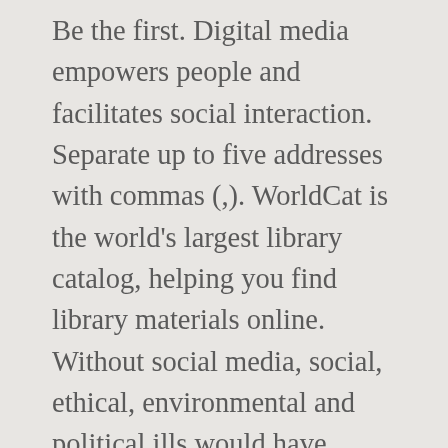Be the first. Digital media empowers people and facilitates social interaction. Separate up to five addresses with commas (,). WorldCat is the world's largest library catalog, helping you find library materials online. Without social media, social, ethical, environmental and political ills would have minimal visibility. On the positive side, people are increasingly being connected across distances with the greatest of ease and innovation via mobile phones, online social networking, blogging, gaming and e-learning. The rapid uptake of digital technologies has hugely impacted on the way we communicate, relate, learn, work, and spend our leisure time. Today, politicians can opt for